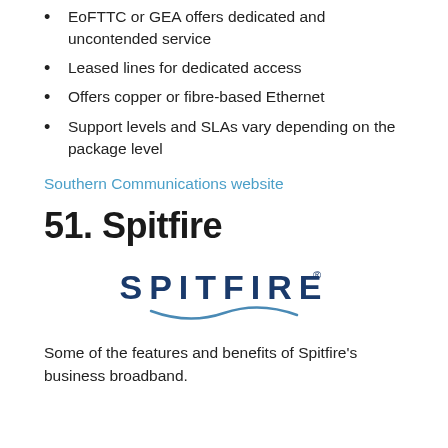EoFTTC or GEA offers dedicated and uncontended service
Leased lines for dedicated access
Offers copper or fibre-based Ethernet
Support levels and SLAs vary depending on the package level
Southern Communications website
51. Spitfire
[Figure (logo): Spitfire logo: the word SPITFIRE in dark blue spaced capitals with a registered trademark symbol, and a decorative blue wave swoosh beneath it]
Some of the features and benefits of Spitfire's business broadband.